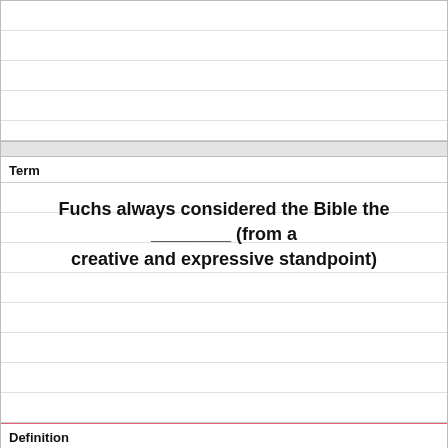Term
Fuchs always considered the Bible the ________ (from a creative and expressive standpoint)
Definition
pinnacle of knowledge